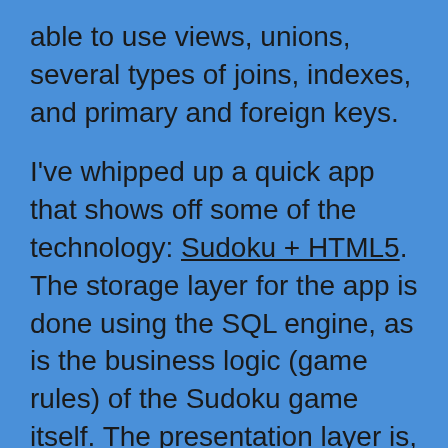able to use views, unions, several types of joins, indexes, and primary and foreign keys.

I've whipped up a quick app that shows off some of the technology: Sudoku + HTML5. The storage layer for the app is done using the SQL engine, as is the business logic (game rules) of the Sudoku game itself. The presentation layer is, of course, done in JavaScript using the HTML5 canvas API. I've tested it in Safari, Opera, and Chrome. Firefox, as of 3.5, does not yet support the SQL Database API. I don't have access to Internet Explorer to test it, but 8 shouldn't work due to